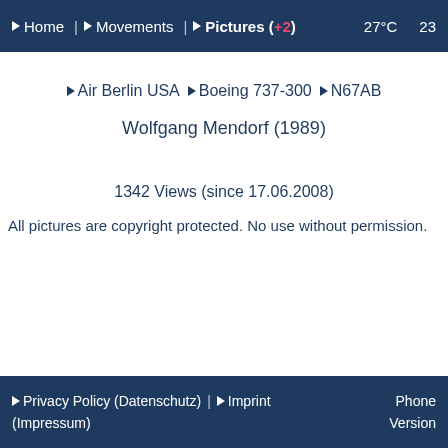▶ Home | ▶ Movements | ▶ Pictures (+2)   27°C   23
▶ Air Berlin USA ▶ Boeing 737-300 ▶ N67AB
Wolfgang Mendorf (1989)
1342 Views (since 17.06.2008)
All pictures are copyright protected. No use without permission.
▶ Privacy Policy (Datenschutz) | ▶ Imprint (Impressum)   Phone Version